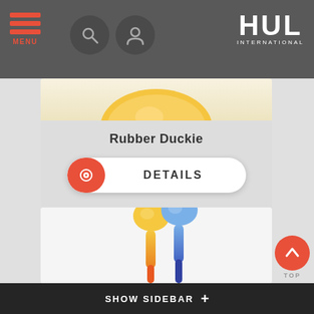MENU | HUL INTERNATIONAL
[Figure (photo): Partial view of Rubber Duckie product image at top]
Rubber Duckie
[Figure (screenshot): DETAILS button with orange eye icon]
[Figure (photo): Two baby spoons, one yellow/orange and one blue/purple, shown on white background]
SHOW SIDEBAR +